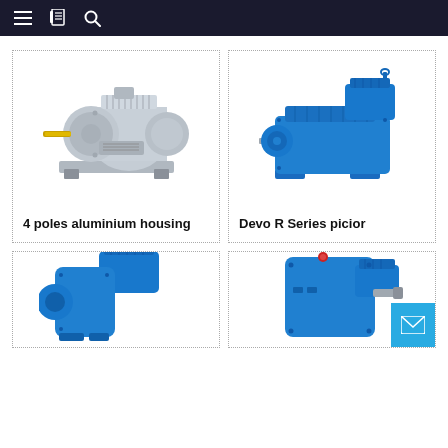Navigation bar with menu, bookmark, and search icons
[Figure (photo): Silver/grey 4-pole aluminium housing electric motor with yellow shaft]
4 poles aluminium housing
[Figure (photo): Blue Devo R Series picior gear motor with shaft]
Devo R Series picior
[Figure (photo): Blue helical gear motor unit, partially visible]
[Figure (photo): Blue worm gear motor with red button on top, partially visible]